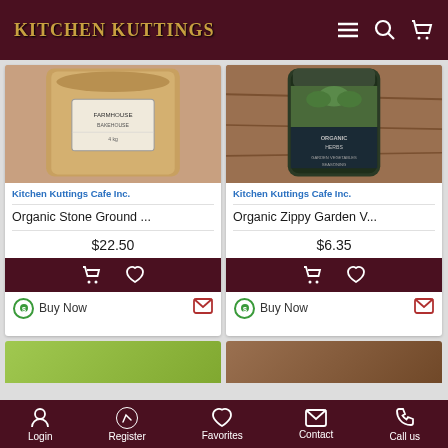Kitchen Kuttings — navigation bar with logo, menu, search, cart icons
[Figure (screenshot): Product card image: large brown paper bag with label — Organic Stone Ground product]
Kitchen Kuttings Cafe Inc.
Organic Stone Ground ...
$22.50
[Figure (screenshot): Product card image: glass jar of Organic Herbs, Garden Vegetables seasoning]
Kitchen Kuttings Cafe Inc.
Organic Zippy Garden V...
$6.35
Login | Register | Favorites | Contact | Call us